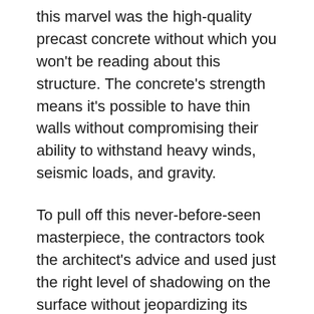this marvel was the high-quality precast concrete without which you won't be reading about this structure. The concrete's strength means it's possible to have thin walls without compromising their ability to withstand heavy winds, seismic loads, and gravity.
To pull off this never-before-seen masterpiece, the contractors took the architect's advice and used just the right level of shadowing on the surface without jeopardizing its ability to shed grime and dust. This resulted in dazzling horizontal